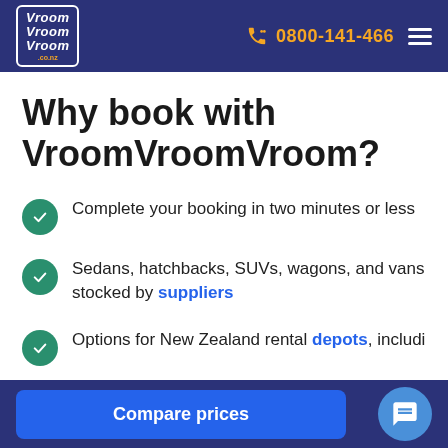VroomVroomVroom | 0800-141-466
Why book with VroomVroomVroom?
Complete your booking in two minutes or less
Sedans, hatchbacks, SUVs, wagons, and vans stocked by suppliers
Options for New Zealand rental depots, includi...